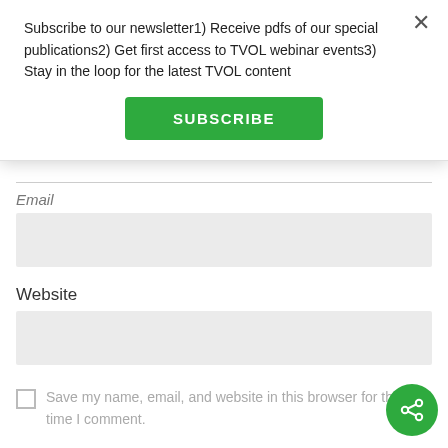Subscribe to our newsletter1) Receive pdfs of our special publications2) Get first access to TVOL webinar events3) Stay in the loop for the latest TVOL content
SUBSCRIBE
Email
Website
Save my name, email, and website in this browser for the next time I comment.